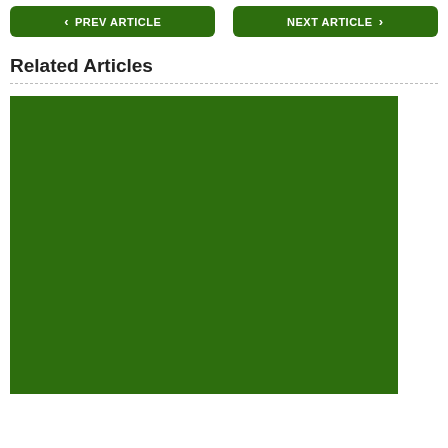PREV ARTICLE   NEXT ARTICLE
Related Articles
[Figure (photo): Large solid dark green rectangular image placeholder for a related article]